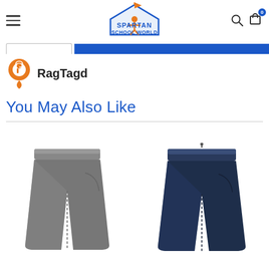Spartan School World — navigation header with hamburger menu, logo, search and cart icons
[Figure (screenshot): Tab bar with inactive white tab and active blue tab]
[Figure (logo): RagTagd brand logo — orange map-pin icon with 'RagTagd' text]
You May Also Like
[Figure (photo): Grey school shorts product photo]
[Figure (photo): Navy blue school shorts product photo]